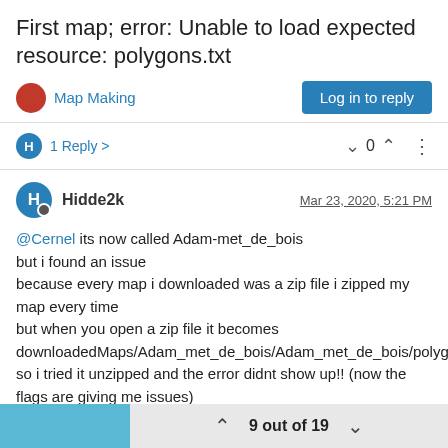First map; error: Unable to load expected resource: polygons.txt
Map Making
Log in to reply
H  1 Reply >   0
Hidde2k   Mar 23, 2020, 5:21 PM
@Cernel its now called Adam-met_de_bois
but i found an issue
because every map i downloaded was a zip file i zipped my map every time
but when you open a zip file it becomes downloadedMaps/Adam_met_de_bois/Adam_met_de_bois/polygons.txt
so i tried it unzipped and the error didnt show up!! (now the flags are giving me issues)
but i have a question
9 out of 19